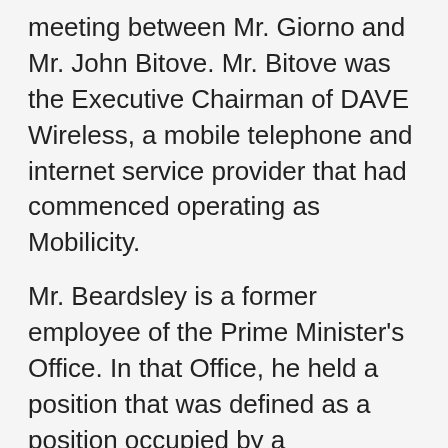meeting between Mr. Giorno and Mr. John Bitove. Mr. Bitove was the Executive Chairman of DAVE Wireless, a mobile telephone and internet service provider that had commenced operating as Mobilicity.
Mr. Beardsley is a former employee of the Prime Minister's Office. In that Office, he held a position that was defined as a position occupied by a "designated public office holder" when the amendments to the Lobbyists Registration Act [1], came into effect on July 2, 2008.
The Investigations Directorate conducted an administrative review and submitted a report to me on May 21, 2010. The Investigations Directorate concluded that Mr. Beardsley had